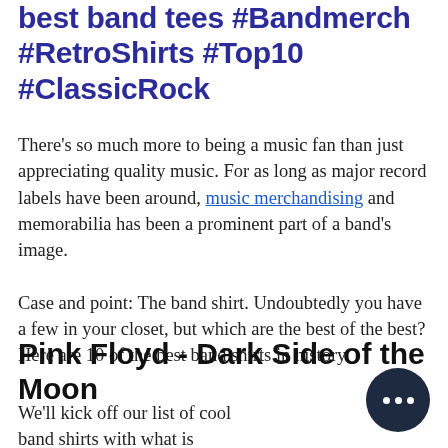best band tees #Bandmerch #RetroShirts #Top10 #ClassicRock
There's so much more to being a music fan than just appreciating quality music. For as long as major record labels have been around, music merchandising and memorabilia has been a prominent part of a band's image.
Case and point: The band shirt. Undoubtedly you have a few in your closet, but which are the best of the best? Here are 10 of the best band shirts in history.
Pink Floyd - Dark Side of the Moon
We'll kick off our list of cool band shirts with what is perhaps the most iconic record on this list. Pink Floyd's Dark